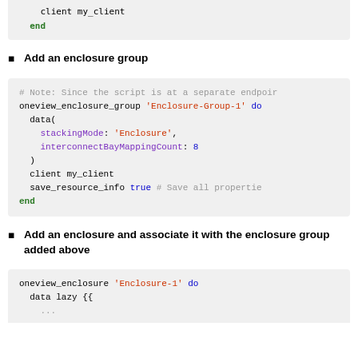client my_client
end
Add an enclosure group
# Note: Since the script is at a separate endpoir
oneview_enclosure_group 'Enclosure-Group-1' do
  data(
    stackingMode: 'Enclosure',
    interconnectBayMappingCount: 8
  )
  client my_client
  save_resource_info true # Save all propertie
end
Add an enclosure and associate it with the enclosure group added above
oneview_enclosure 'Enclosure-1' do
  data lazy {{
    ...